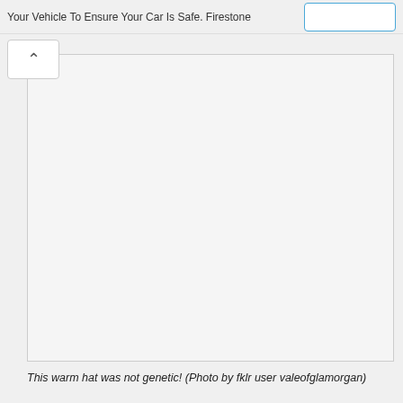Your Vehicle To Ensure Your Car Is Safe. Firestone
[Figure (photo): A large image placeholder showing a broken/missing image icon in the top-left corner. The image area is light gray with a thin border.]
This warm hat was not genetic! (Photo by fklr user valeofglamorgan)